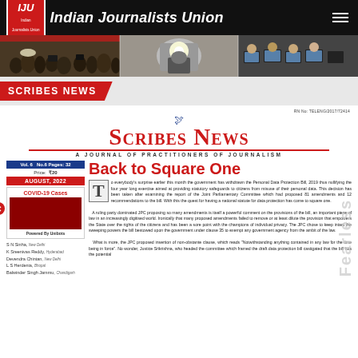Indian Journalists Union
[Figure (photo): Banner photo strip showing journalists, photographer with flash, and newsroom]
SCRIBES NEWS
RN No: TELENG/2017/72414
SCRIBES NEWS — A JOURNAL OF PRACTITIONERS OF JOURNALISM
Vol. 6  No.6 Pages: 32
Price: ₹20
AUGUST, 2022
[Figure (infographic): COVID-19 Cases widget powered by Unibots with dark red block]
S N Sinha, New Delhi
K Sreenivas Reddy, Hyderabad
Devendra Chintan, New Delhi
L S Herdenia, Bhopal
Balwinder Singh Jammu, Chandigarh
Back to Square One
To everybody's surprise earlier this month the government has withdrawn the Personal Data Protection Bill, 2019 thus nullifying the four year long exercise aimed at providing statutory safeguards to citizens from misuse of their personal data. This decision has been taken after examining the report of the Joint Parliamentary Committee which had proposed 81 amendments and 12 recommendations to the bill. With this the quest for having a national statute for data protection has come to square one. A ruling party dominated JPC proposing so many amendments is itself a powerful comment on the provisions of the bill, an important piece of law in an increasingly digitised world. Ironically that many proposed amendments failed to remove or at least dilute the provision that empowers the State over the rights of the citizens and has been a sore point with the champions of individual privacy. The JPC chose to keep intact the sweeping powers the bill bestowed upon the government under clause 35 to exempt any government agency from the ambit of the law. What is more, the JPC proposed insertion of non-obstante clause, which reads "Notwithstanding anything contained in any law for the time being in force". No wonder, Justice Srikrishna, who headed the committee which framed the draft data protection bill castigated that the bill has the potential